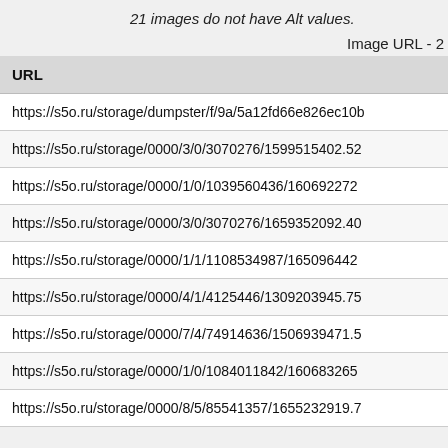21 images do not have Alt values.
Image URL - 2
| URL |
| --- |
| https://s5o.ru/storage/dumpster/f/9a/5a12fd66e826ec10b... |
| https://s5o.ru/storage/0000/3/0/3070276/1599515402.52... |
| https://s5o.ru/storage/0000/1/0/1039560436/160692272... |
| https://s5o.ru/storage/0000/3/0/3070276/1659352092.40... |
| https://s5o.ru/storage/0000/1/1/1108534987/165096442... |
| https://s5o.ru/storage/0000/4/1/4125446/1309203945.75... |
| https://s5o.ru/storage/0000/7/4/74914636/1506939471.5... |
| https://s5o.ru/storage/0000/1/0/1084011842/160683265... |
| https://s5o.ru/storage/0000/8/5/85541357/1655232919.7... |